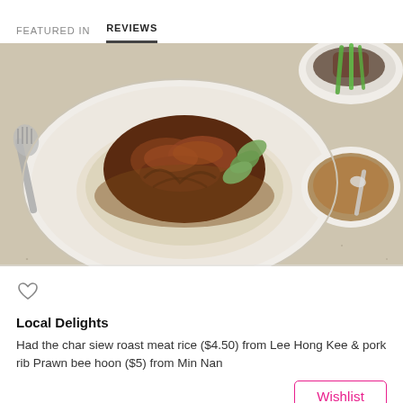FEATURED IN   REVIEWS
[Figure (photo): Top-down photo of a plate of char siew roast meat rice with gravy and cucumber garnish, alongside a bowl of soup with green onions and a small cup of brown broth on a speckled beige table]
Local Delights
Had the char siew roast meat rice ($4.50) from Lee Hong Kee & pork rib Prawn bee hoon ($5) from Min Nan
Wishlist